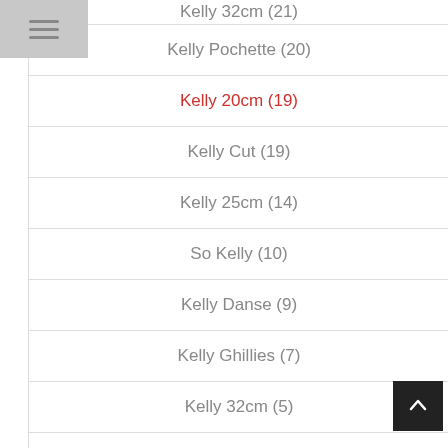Kelly 32cm (21)
Kelly Pochette (20)
Kelly 20cm (19)
Kelly Cut (19)
Kelly 25cm (14)
So Kelly (10)
Kelly Danse (9)
Kelly Ghillies (7)
Kelly 32cm (5)
Kelly Ado (1)